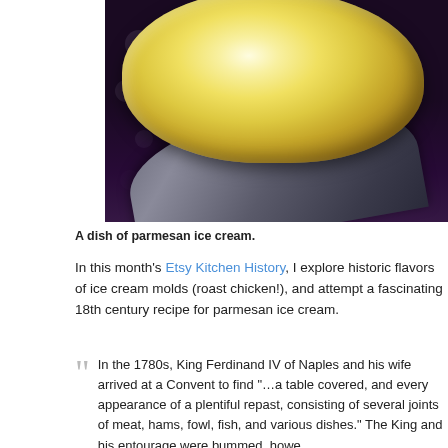[Figure (photo): Close-up photo of a scoop of pale yellow parmesan ice cream on a spoon, with a dark bokeh background with light spots.]
A dish of parmesan ice cream.
In this month's Etsy Kitchen History, I explore historic flavors of ice cream molds (roast chicken!), and attempt a fascinating 18th century recipe for parmesan ice cream.
In the 1780s, King Ferdinand IV of Naples and his wife arrived at a Convent to find "…a table covered, and every appearance of a plentiful repast, consisting of several joints of meat, hams, fowl, fish, and various dishes." The King and his entourage were bummed, howe...